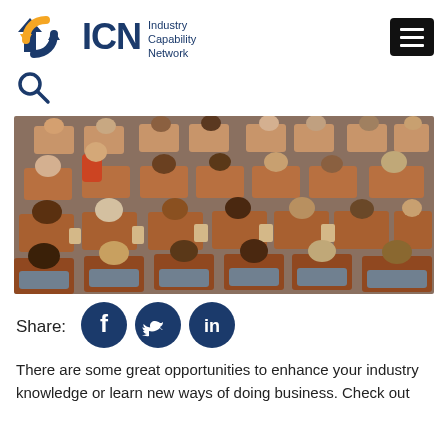[Figure (logo): ICN Industry Capability Network logo with orange/blue arrow icon and navy text, plus hamburger menu button]
[Figure (other): Search magnifying glass icon]
[Figure (photo): Aerial view of people sitting in lecture hall / auditorium seats, seen from above]
Share:
[Figure (other): Social share icons: Facebook, Twitter, LinkedIn circular navy buttons]
There are some great opportunities to enhance your industry knowledge or learn new ways of doing business. Check out